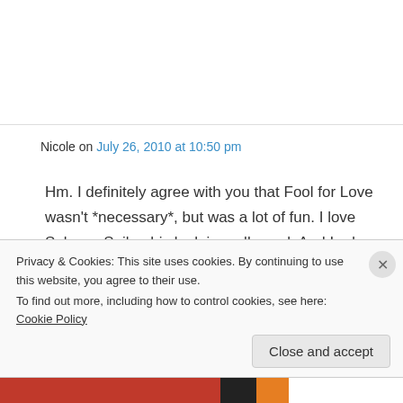Nicole on July 26, 2010 at 10:50 pm
Hm. I definitely agree with you that Fool for Love wasn't *necessary*, but was a lot of fun. I love Subway Spike, his look is really cool. And I adore the last few scenes of Family, I feel like it definitely sums up a major theme in BTVS – found families. I really like that about both BTVS
Privacy & Cookies: This site uses cookies. By continuing to use this website, you agree to their use. To find out more, including how to control cookies, see here: Cookie Policy
Close and accept